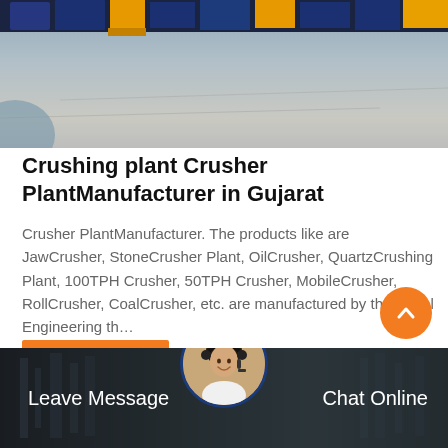[Figure (photo): Industrial crushing plant machinery in a factory floor setting, showing heavy equipment and vehicles on a concrete surface]
Crushing plant Crusher PlantManufacturer in Gujarat
Crusher PlantManufacturer. The products like are JawCrusher, StoneCrusher Plant, OilCrusher, QuartzCrushing Plant, 100TPH Crusher, 50TPH Crusher, MobileCrusher, RollCrusher, CoalCrusher, etc. are manufactured by the Royal Engineering th…
Get Price
[Figure (photo): Footer bar with customer support representative avatar in a circular frame, industrial background, with 'Leave Message' and 'Chat Online' options]